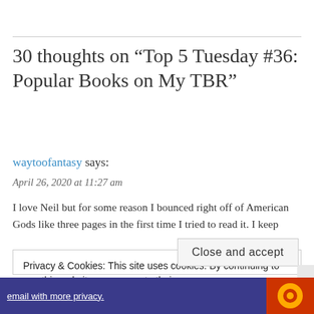30 thoughts on “Top 5 Tuesday #36: Popular Books on My TBR”
waytoofantasy says:
April 26, 2020 at 11:27 am
I love Neil but for some reason I bounced right off of American Gods like three pages in the first time I tried to read it. I keep
Privacy & Cookies: This site uses cookies. By continuing to use this website, you agree to their use.
To find out more, including how to control cookies, see here: Cookie Policy
Close and accept